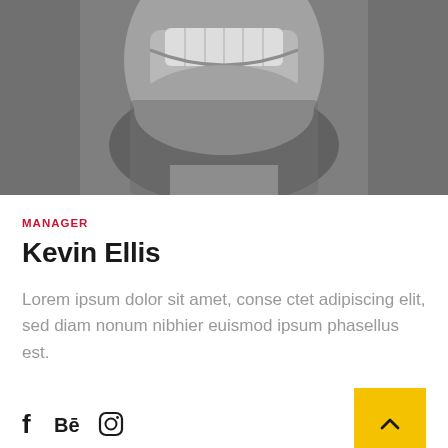[Figure (photo): Close-up black and white photo of a smiling man with beard, cropped to show lower face and neck area]
MANAGER
Kevin Ellis
Lorem ipsum dolor sit amet, conse ctet adipiscing elit, sed diam nonum nibhier euismod ipsum phasellus est.
[Figure (infographic): Social media icons: Facebook (f), Behance (Be), Instagram (camera icon), and a yellow square button with an upward chevron arrow]
[Figure (photo): Black and white photo of a woman with dark hair parted in the middle, cropped to top of head]